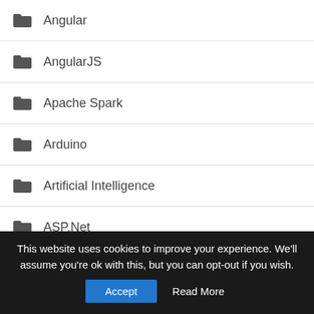Angular
AngularJS
Apache Spark
Arduino
Artificial Intelligence
ASP.Net
Assembly
AutoCAD
Automation
AWS (Amazon Web Services)
This website uses cookies to improve your experience. We'll assume you're ok with this, but you can opt-out if you wish.